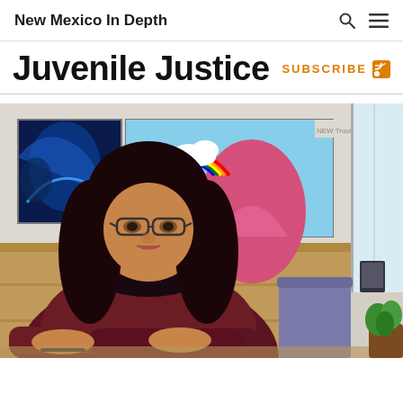New Mexico In Depth
Juvenile Justice
SUBSCRIBE
[Figure (photo): A woman with long dark hair and glasses wearing a maroon top, seated at a table with her arms crossed, in an office or classroom setting with colorful artwork on the wall behind her. A rainbow painting and blue artwork are visible on the wall. A window is on the right side, and a plant is visible in the lower right corner.]